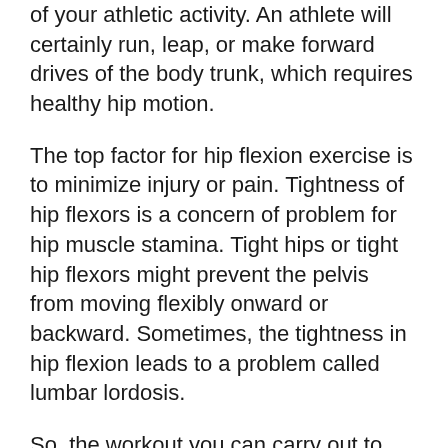of your athletic activity. An athlete will certainly run, leap, or make forward drives of the body trunk, which requires healthy hip motion.
The top factor for hip flexion exercise is to minimize injury or pain. Tightness of hip flexors is a concern of problem for hip muscle stamina. Tight hips or tight hip flexors might prevent the pelvis from moving flexibly onward or backward. Sometimes, the tightness in hip flexion leads to a problem called lumbar lordosis.
So, the workout you can carry out to boost hip flexion consists of double-leg curve, lunges, and also supine gravity stretches. It would certainly be best to enhance the hip